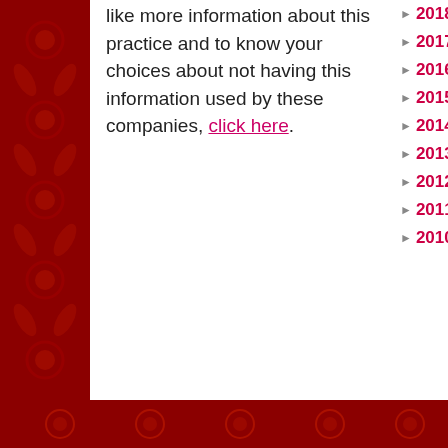like more information about this practice and to know your choices about not having this information used by these companies, click here.
► 2018
► 2017
► 2016
► 2015
► 2014
► 2013
► 2012
► 2011
► 2010